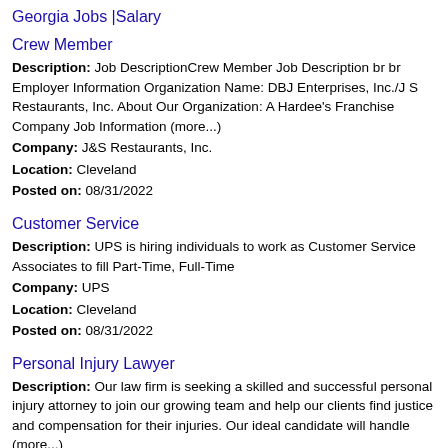Georgia Jobs |Salary
Crew Member
Description: Job DescriptionCrew Member Job Description br br Employer Information Organization Name: DBJ Enterprises, Inc./J S Restaurants, Inc. About Our Organization: A Hardee's Franchise Company Job Information (more...)
Company: J&S Restaurants, Inc.
Location: Cleveland
Posted on: 08/31/2022
Customer Service
Description: UPS is hiring individuals to work as Customer Service Associates to fill Part-Time, Full-Time
Company: UPS
Location: Cleveland
Posted on: 08/31/2022
Personal Injury Lawyer
Description: Our law firm is seeking a skilled and successful personal injury attorney to join our growing team and help our clients find justice and compensation for their injuries. Our ideal candidate will handle (more...)
Company: Atlanta Personal Injury Law Group - Gore